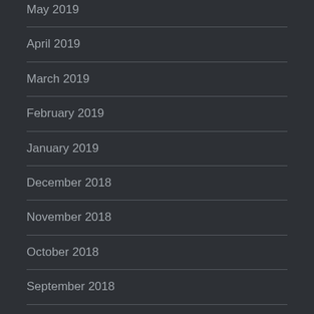May 2019
April 2019
March 2019
February 2019
January 2019
December 2018
November 2018
October 2018
September 2018
March 2018
January 2018
December 2017